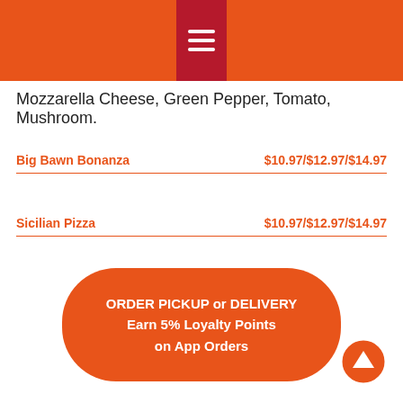Mozzarella Cheese, Green Pepper, Tomato, Mushroom.
Big Bawn Bonanza   $10.97/$12.97/$14.97
Sicilian Pizza   $10.97/$12.97/$14.97
ORDER PICKUP or DELIVERY
Earn 5% Loyalty Points
on App Orders